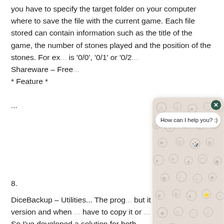you have to specify the target folder on your computer where to save the file with the current game. Each file stored can contain information such as the title of the game, the number of stones played and the position of the stones. For ex... is '0/0', '0/1' or '0/2... Shareware – Free... * Feature * ...
8.
DiceBackup – Utilities... The prog... but it has two dow... version and when... have to copy it or... some problems). So I've developed a solution for both problems, using the fact that...
[Figure (screenshot): Chat widget overlay with decorative emoji/doodle pattern background in beige/tan color. A close button (dark green circle with X) in top right. A speech bubble saying 'How can I help you? :)'. At the bottom, an input field and a green send button with a play/arrow icon.]